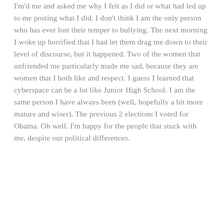I'm'd me and asked me why I felt as I did or what had led up to me posting what I did.  I don't think I am the only person who has ever lost their temper to bullying.  The next morning I woke up horrified that I had let them drag me down to their level of discourse, but it happened. Two of the women that unfriended me particularly made me sad, because they are women that I both like and respect.  I guess I learned that cyberspace can be a lot like Junior High School. I am the same person I have always been (well, hopefully a bit more mature and wiser). The previous 2 elections I voted for Obama. Oh well. I'm happy for the people that stuck with me, despite our political differences.